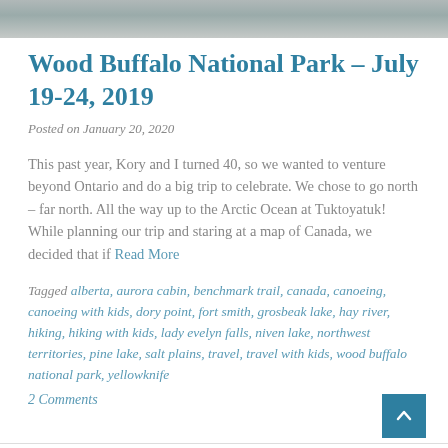[Figure (photo): Partial photo strip at top of page showing rocky/stone texture in grayscale]
Wood Buffalo National Park – July 19-24, 2019
Posted on January 20, 2020
This past year, Kory and I turned 40, so we wanted to venture beyond Ontario and do a big trip to celebrate. We chose to go north – far north. All the way up to the Arctic Ocean at Tuktoyatuk! While planning our trip and staring at a map of Canada, we decided that if Read More
Tagged alberta, aurora cabin, benchmark trail, canada, canoeing, canoeing with kids, dory point, fort smith, grosbeak lake, hay river, hiking, hiking with kids, lady evelyn falls, niven lake, northwest territories, pine lake, salt plains, travel, travel with kids, wood buffalo national park, yellowknife
2 Comments